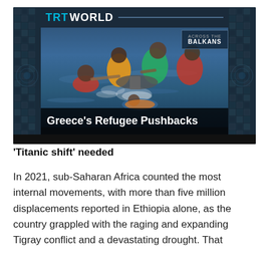[Figure (screenshot): TRT World video thumbnail showing refugees in water trying to board a boat, with 'ACROSS THE BALKANS' badge in upper right and title overlay 'Greece's Refugee Pushbacks' at the bottom. TRT World logo in upper left with teal/white text.]
'Titanic shift' needed
In 2021, sub-Saharan Africa counted the most internal movements, with more than five million displacements reported in Ethiopia alone, as the country grappled with the raging and expanding Tigray conflict and a devastating drought. That